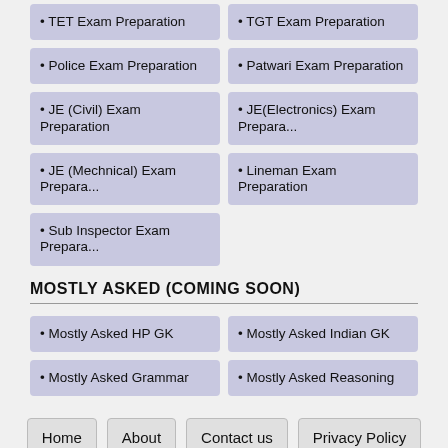• TET Exam Preparation
• TGT Exam Preparation
• Police Exam Preparation
• Patwari Exam Preparation
• JE (Civil) Exam Preparation
• JE(Electronics) Exam Prepara...
• JE (Mechnical) Exam Prepara...
• Lineman Exam Preparation
• Sub Inspector Exam Prepara...
MOSTLY ASKED (COMING SOON)
• Mostly Asked HP GK
• Mostly Asked Indian GK
• Mostly Asked Grammar
• Mostly Asked Reasoning
Home  About  Contact us  Privacy Policy
Design by - Blogger Templates | Distributed by www.Himexam.com